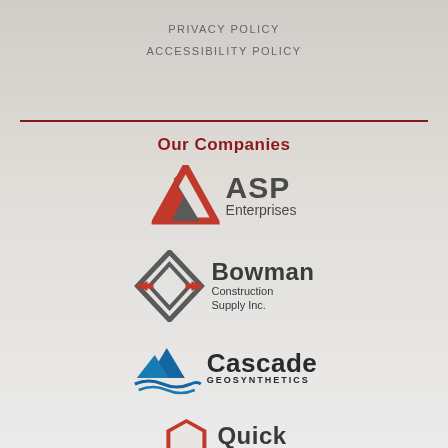PRIVACY POLICY
ACCESSIBILITY POLICY
Our Companies
[Figure (logo): ASP Enterprises logo with red triangle icon and bold grey text]
[Figure (logo): Bowman Construction Supply Inc. logo with diamond/arrow icon in grey and red]
[Figure (logo): Cascade Geosynthetics logo with blue mountain and wave icon]
[Figure (logo): Quick logo partially visible with red hexagon icon]